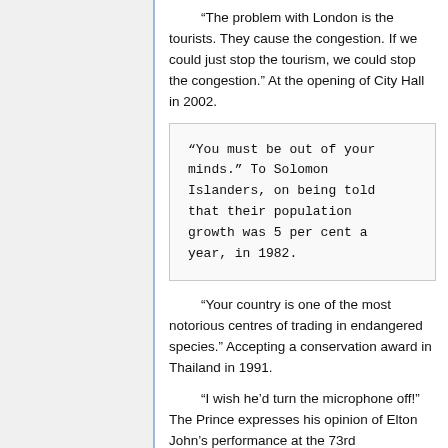“The problem with London is the tourists. They cause the congestion. If we could just stop the tourism, we could stop the congestion.” At the opening of City Hall in 2002.
“You must be out of your minds.” To Solomon Islanders, on being told that their population growth was 5 per cent a year, in 1982.
“Your country is one of the most notorious centres of trading in endangered species.” Accepting a conservation award in Thailand in 1991.
“I wish he’d turn the microphone off!” The Prince expresses his opinion of Elton John’s performance at the 73rd